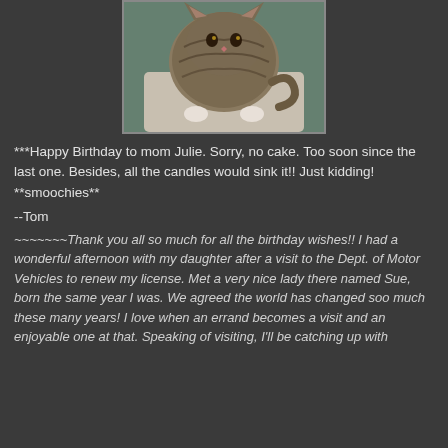[Figure (photo): A tabby cat photographed from above, looking up at the camera, with striped brown/grey fur, standing on what appears to be a light-colored surface with a teal/blue background.]
***Happy Birthday to mom Julie. Sorry, no cake. Too soon since the last one. Besides, all the candles would sink it!! Just kidding! **smoochies**
--Tom
~~~~~~~Thank you all so much for all the birthday wishes!! I had a wonderful afternoon with my daughter after a visit to the Dept. of Motor Vehicles to renew my license. Met a very nice lady there named Sue, born the same year I was. We agreed the world has changed soo much these many years! I love when an errand becomes a visit and an enjoyable one at that. Speaking of visiting, I'll be catching up with